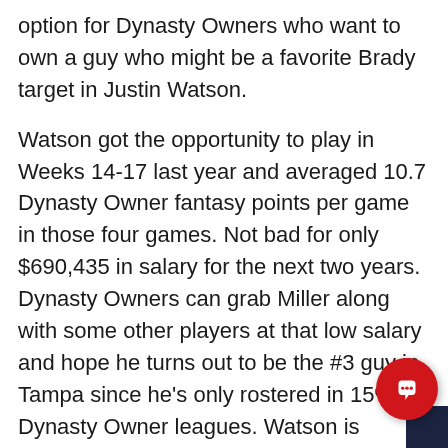option for Dynasty Owners who want to own a guy who might be a favorite Brady target in Justin Watson.
Watson got the opportunity to play in Weeks 14-17 last year and averaged 10.7 Dynasty Owner fantasy points per game in those four games. Not bad for only $690,435 in salary for the next two years. Dynasty Owners can grab Miller along with some other players at that low salary and hope he turns out to be the #3 guy in Tampa since he's only rostered in 15% of Dynasty Owner leagues. Watson is making an impression with Coach Bruce Arians' according to a recent article – https://www.cbssports.com/fantasy/football/news/buccaneers-justin-watson-catches-coachs-eye/ – so if he catches Brady's eye as well, he could be someone to stash on your Practice Squad.
With the word from training camp that 49ers WR Jalen Hurd may have torn an ACL, other WRs could get a little some additional work in the 49ers offense. There are...